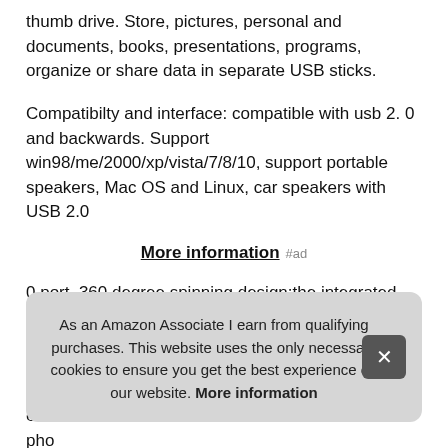thumb drive. Store, pictures, personal and documents, books, presentations, programs, organize or share data in separate USB sticks.
Compatibilty and interface: compatible with usb 2. 0 and backwards. Support win98/me/2000/xp/vista/7/8/10, support portable speakers, Mac OS and Linux, car speakers with USB 2.0
More information #ad
0 port. 360 degree spinning design:the integrated metal swivel cap offers additional protection for the pen drive and its data fron stor Edu etc. pho
As an Amazon Associate I earn from qualifying purchases. This website uses the only necessary cookies to ensure you get the best experience on our website. More information